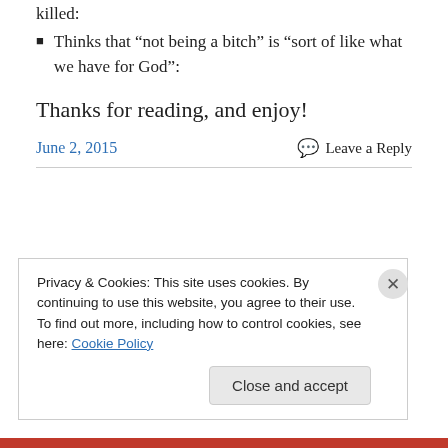killed:
Thinks that “not being a bitch” is “sort of like what we have for God”:
Thanks for reading, and enjoy!
June 2, 2015
Leave a Reply
Privacy & Cookies: This site uses cookies. By continuing to use this website, you agree to their use.
To find out more, including how to control cookies, see here: Cookie Policy
Close and accept